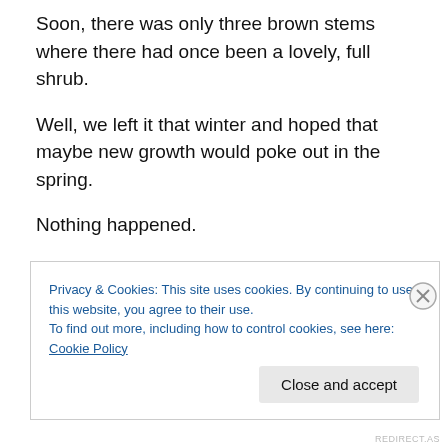Soon, there was only three brown stems where there had once been a lovely, full shrub.
Well, we left it that winter and hoped that maybe new growth would poke out in the spring.
Nothing happened.
No new leaves.
So, later in June, I decided that I would plant something else in the place of that camellia. I started to dig around the bottom of those dead looking stems and
Privacy & Cookies: This site uses cookies. By continuing to use this website, you agree to their use.
To find out more, including how to control cookies, see here: Cookie Policy
Close and accept
REDIRECT.AS